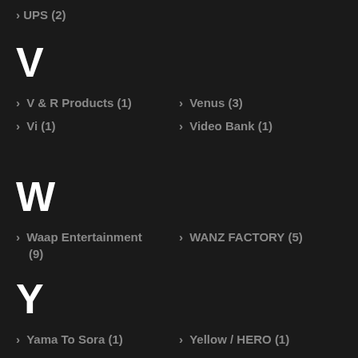UPS (2)
V
V & R Products (1)
Venus (3)
Vi (1)
Video Bank (1)
W
Waap Entertainment (9)
WANZ FACTORY (5)
Y
Yama To Sora (1)
Yellow / HERO (1)